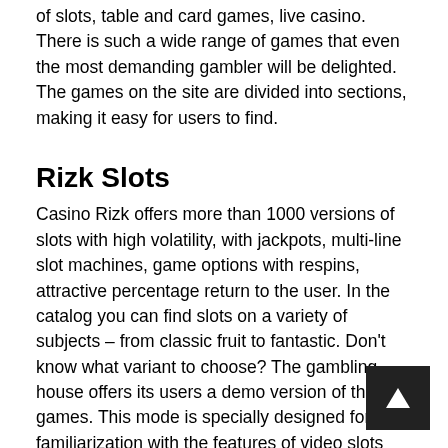of slots, table and card games, live casino. There is such a wide range of games that even the most demanding gambler will be delighted. The games on the site are divided into sections, making it easy for users to find.
Rizk Slots
Casino Rizk offers more than 1000 versions of slots with high volatility, with jackpots, multi-line slot machines, game options with respins, attractive percentage return to the user. In the catalog you can find slots on a variety of subjects – from classic fruit to fantastic. Don't know what variant to choose? The gambling house offers its users a demo version of the games. This mode is specially designed for familiarization with the features of video slots and does not require betting for real money.